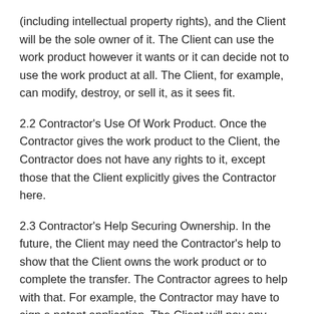(including intellectual property rights), and the Client will be the sole owner of it. The Client can use the work product however it wants or it can decide not to use the work product at all. The Client, for example, can modify, destroy, or sell it, as it sees fit.
2.2 Contractor's Use Of Work Product. Once the Contractor gives the work product to the Client, the Contractor does not have any rights to it, except those that the Client explicitly gives the Contractor here.
2.3 Contractor's Help Securing Ownership. In the future, the Client may need the Contractor's help to show that the Client owns the work product or to complete the transfer. The Contractor agrees to help with that. For example, the Contractor may have to sign a patent application. The Client will pay any required expenses for this. If the Client can't find the Contractor, the Contractor agrees that the Client can act on the Contractor's behalf to accomplish the same thing. The following language